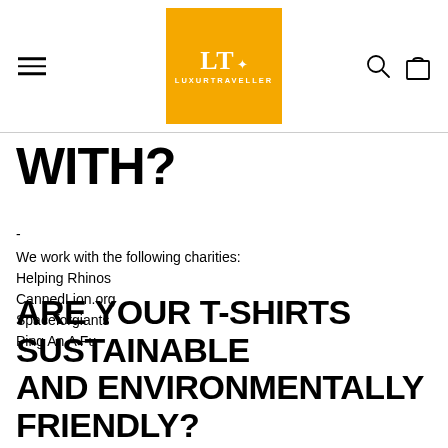[Figure (logo): LT Luxurtraveller logo in orange/amber square with white text]
WITH?
-
We work with the following charities:
Helping Rhinos
CannedLion.org
Spaceforgiants
Ping An A Fu
ARE YOUR T-SHIRTS SUSTAINABLE AND ENVIRONMENTALLY FRIENDLY?